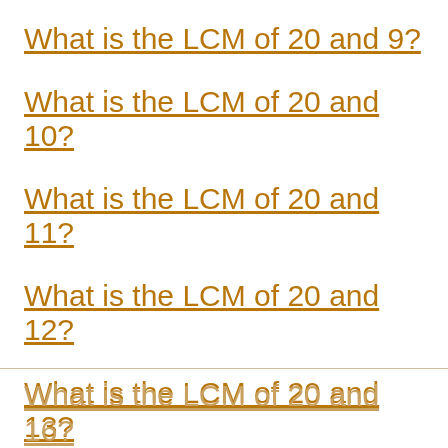What is the LCM of 20 and 9?
What is the LCM of 20 and 10?
What is the LCM of 20 and 11?
What is the LCM of 20 and 12?
What is the LCM of 20 and 13?
What is the LCM of 20 and 14?
What is the LCM of 20 and 15?
What is the LCM of 20 and 16?